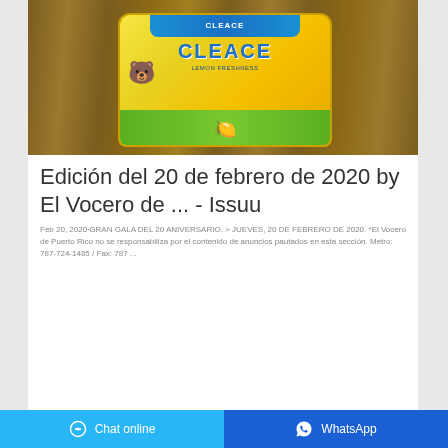[Figure (photo): Product photo of a Cleace lemon freshness detergent/cleaning product bag in yellow packaging with blue brand name, placed on a wooden surface]
Edición del 20 de febrero de 2020 by El Vocero de ... - Issuu
Feb 20, 2020·GRAN GALA DEL 20 ANIVERSARIO. > JUEVES, 20 DE FEBRERO DE 2020. *El Vocero de Puerto Rico no se responsabiliza por el contenido de anuncios pautados en esta sección. Metro: 787-724-1485 / Fax: 787 ...
Chat online | WhatsApp